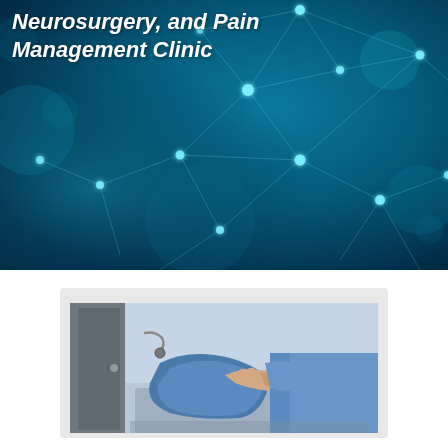[Figure (illustration): Dark teal/blue background with glowing network nodes and connecting lines (neural network / connectivity visualization). Title text overlaid in white italic bold: 'Neurosurgery, and Pain Management Clinic']
Neurosurgery, and Pain Management Clinic
[Figure (photo): Close-up photo of a medical professional in blue scrubs examining or touching a patient's knee/leg area. The patient appears to be seated. Medical or clinical setting.]